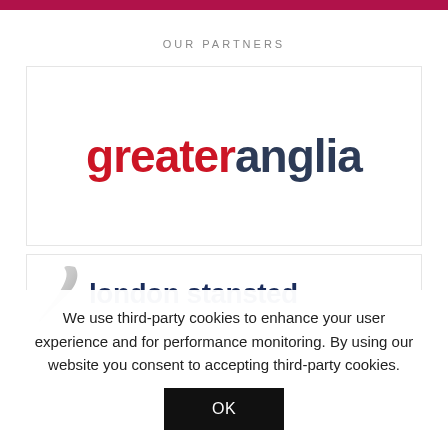OUR PARTNERS
[Figure (logo): Greater Anglia logo — 'greater' in red, 'anglia' in dark navy, bold lowercase sans-serif font]
[Figure (logo): London Stansted airport logo — silver swoosh/wing graphic on left, 'london stansted' bold dark navy text on right, partially visible]
We use third-party cookies to enhance your user experience and for performance monitoring. By using our website you consent to accepting third-party cookies.
OK